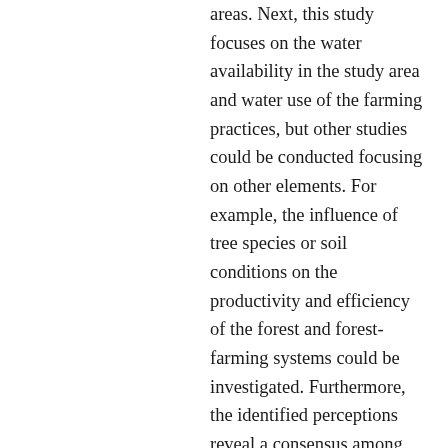areas. Next, this study focuses on the water availability in the study area and water use of the farming practices, but other studies could be conducted focusing on other elements. For example, the influence of tree species or soil conditions on the productivity and efficiency of the forest and forest-farming systems could be investigated. Furthermore, the identified perceptions reveal a consensus among stakeholders, but also pinpoint divergent attitudes. These can guide awareness- raising campaigns and assist in the process of including stakeholders in the management and development of the